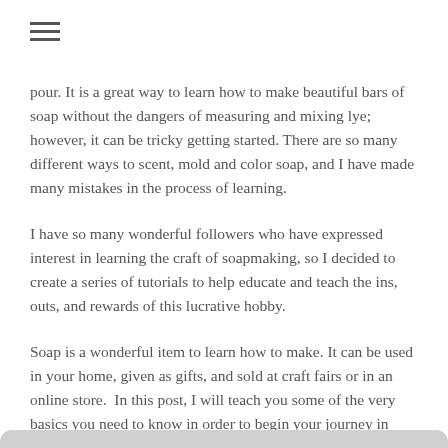≡
pour. It is a great way to learn how to make beautiful bars of soap without the dangers of measuring and mixing lye; however, it can be tricky getting started. There are so many different ways to scent, mold and color soap, and I have made many mistakes in the process of learning.
I have so many wonderful followers who have expressed interest in learning the craft of soapmaking, so I decided to create a series of tutorials to help educate and teach the ins, outs, and rewards of this lucrative hobby.
Soap is a wonderful item to learn how to make. It can be used in your home, given as gifts, and sold at craft fairs or in an online store.  In this post, I will teach you some of the very basics you need to know in order to begin your journey in soaping.